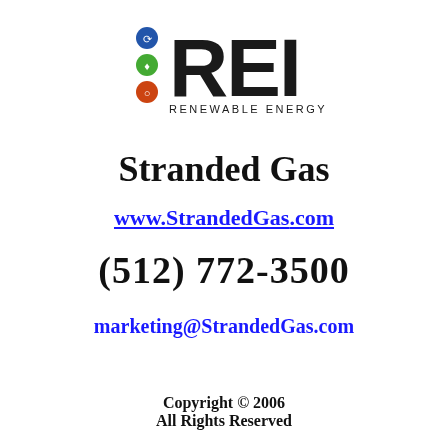[Figure (logo): REI - Renewable Energy Institute logo with colored dots (blue, green, orange) and bold REI text]
Stranded Gas
www.StrandedGas.com
(512) 772-3500
marketing@StrandedGas.com
Copyright © 2006
All Rights Reserved